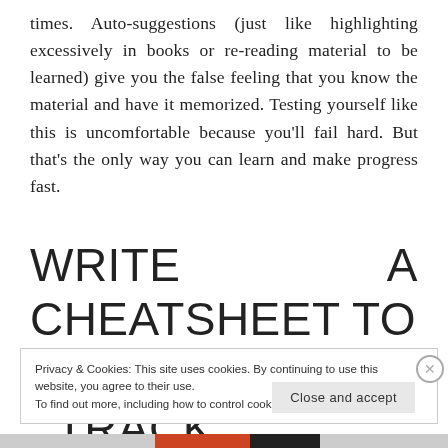times. Auto-suggestions (just like highlighting excessively in books or re-reading material to be learned) give you the false feeling that you know the material and have it memorized. Testing yourself like this is uncomfortable because you'll fail hard. But that's the only way you can learn and make progress fast.
WRITE A CHEATSHEET TO MEMORIZE AND TRACK
Privacy & Cookies: This site uses cookies. By continuing to use this website, you agree to their use.
To find out more, including how to control cookies, see here: Cookie Policy
Close and accept